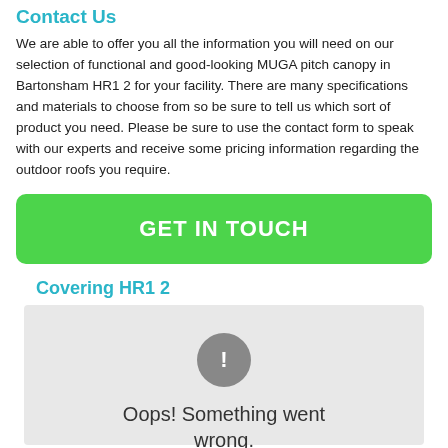Contact Us
We are able to offer you all the information you will need on our selection of functional and good-looking MUGA pitch canopy in Bartonsham HR1 2 for your facility. There are many specifications and materials to choose from so be sure to tell us which sort of product you need. Please be sure to use the contact form to speak with our experts and receive some pricing information regarding the outdoor roofs you require.
GET IN TOUCH
Covering HR1 2
[Figure (screenshot): Map error placeholder showing grey background with exclamation icon and text 'Oops! Something went wrong.']